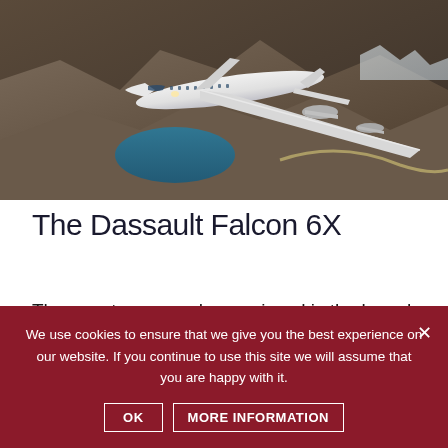[Figure (photo): A white Dassault Falcon 6X business jet flying over rugged mountainous terrain with a blue-green lake visible below. The aircraft is seen from below-side angle against a rocky landscape backdrop.]
The Dassault Falcon 6X
The event you may have missed is the launch of the latest jet from Dassault Aviation. Capable of
We use cookies to ensure that we give you the best experience on our website. If you continue to use this site we will assume that you are happy with it.
OK   MORE INFORMATION